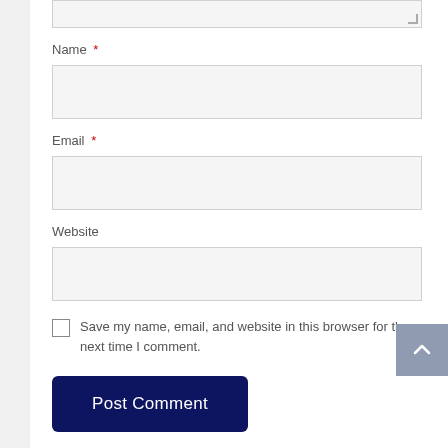Name *
[Figure (screenshot): Name text input field (empty, light gray background)]
Email *
[Figure (screenshot): Email text input field (empty, light gray background)]
Website
[Figure (screenshot): Website text input field (empty, light gray background)]
Save my name, email, and website in this browser for the next time I comment.
Post Comment